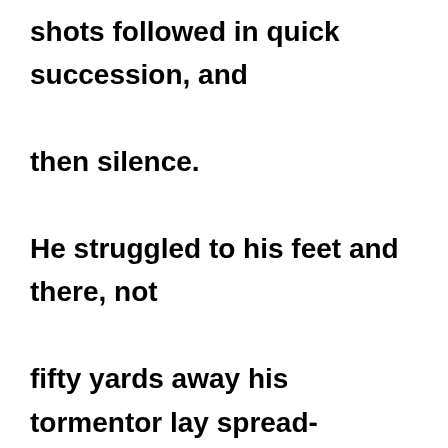shots followed in quick succession, and then silence.

He struggled to his feet and there, not fifty yards away his tormentor lay spread-eagled in the snow. Rooted to the spot, Kevin viewed the soldier dis passionately. A child's toy, he thought, that's what he looks like. Motionless and quiet;

a broken toy …